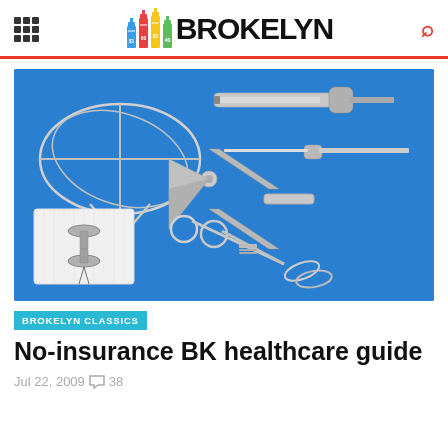BROKELYN
[Figure (photo): Medical/surgical instruments laid out on a blue background: wire basket retrieval device, large syringe, needle aspirator, speculum, forceps/clamp, and gauze pad with IUD.]
BROKELYN CLASSICS
No-insurance BK healthcare guide
Jul 22, 2009  38